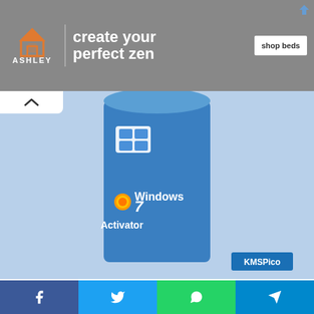[Figure (photo): Ashley Furniture advertisement banner with logo, text 'create your perfect zen' and 'shop beds' button]
[Figure (photo): Windows 7 Activator product box on light blue background with KMSPico watermark badge]
KMSPico Windows 7 Activator Download [August 2022]
1 week ago
[Figure (infographic): Social share bar with Facebook, Twitter, WhatsApp, and Telegram buttons]